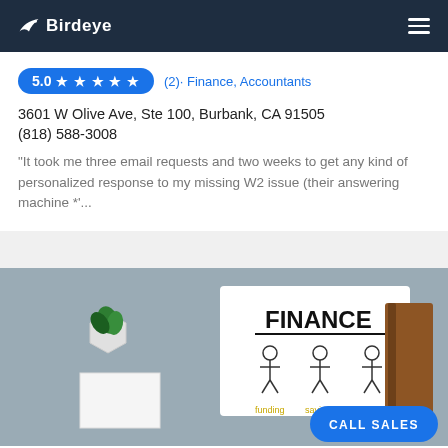Birdeye
5.0 ★ ★ ★ ★ ★  (2)· Finance, Accountants
3601 W Olive Ave, Ste 100, Burbank, CA 91505
(818) 588-3008
"It took me three email requests and two weeks to get any kind of personalized response to my missing W2 issue (their answering machine *'...
[Figure (photo): Photo of a finance-themed flat lay with a small succulent plant in a hexagonal pot, a white sign reading FINANCE with stick figures labeled funding, saving, benefit, and a brown book. A blue CALL SALES button overlays the bottom right.]
Vorbeck Carlin & Shats LLP
5.0 ★ ★ ★ ★ ★  (2)· Finance, Accountants
826 N Hollywood Way, Burbank, CA 91505